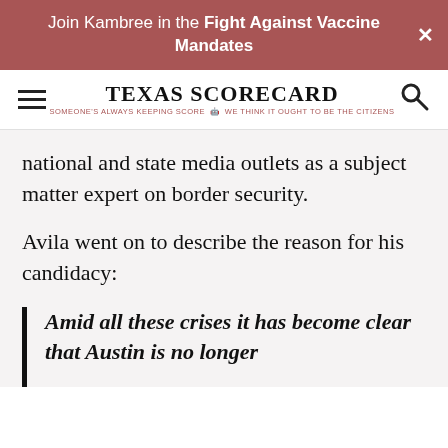Join Kambree in the Fight Against Vaccine Mandates
[Figure (logo): Texas Scorecard logo with hamburger menu and search icon]
national and state media outlets as a subject matter expert on border security.
Avila went on to describe the reason for his candidacy:
Amid all these crises it has become clear that Austin is no longer